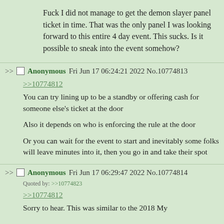Fuck I did not manage to get the demon slayer panel ticket in time. That was the only panel I was looking forward to this entire 4 day event. This sucks. Is it possible to sneak into the event somehow?
Anonymous Fri Jun 17 06:24:21 2022 No.10774813
>>10774812
You can try lining up to be a standby or offering cash for someone else's ticket at the door

Also it depends on who is enforcing the rule at the door

Or you can wait for the event to start and inevitably some folks will leave minutes into it, then you go in and take their spot
Anonymous Fri Jun 17 06:29:47 2022 No.10774814
Quoted by: >>10774823
>>10774812
Sorry to hear. This was similar to the 2018 My